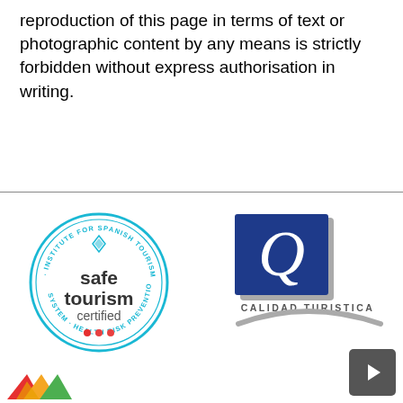reproduction of this page in terms of text or photographic content by any means is strictly forbidden without express authorisation in writing.
[Figure (logo): Safe Tourism Certified badge - circular badge with text 'INSTITUTE FOR SPANISH TOURISM QUALITY SYSTEM - HEALTH RISK PREVENTION' around the border, and 'safe tourism certified' in the center with a cyan/light blue color scheme and three colored dots (red, yellow, red)]
[Figure (logo): Calidad Turistica logo - a blue square with a stylized white Q letter, gray frame border, text 'CALIDAD TURISTICA' below, and a gray curved swoosh shape underneath]
[Figure (logo): Partial colorful logo visible at bottom-left corner]